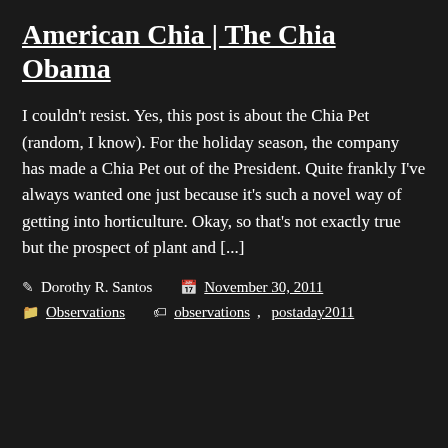American Chia | The Chia Obama
I couldn't resist. Yes, this post is about the Chia Pet (random, I know). For the holiday season, the company has made a Chia Pet out of the President. Quite frankly I've always wanted one just because it's such a novel way of getting into horticulture. Okay, so that's not exactly true but the prospect of plant and [...]
Dorothy R. Santos  November 30, 2011
Observations  observations, postaday2011